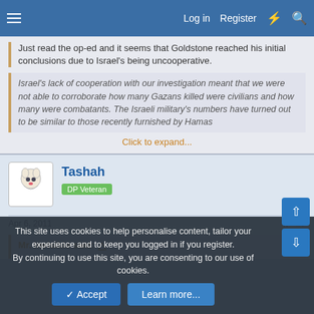Log in  Register
Just read the op-ed and it seems that Goldstone reached his initial conclusions due to Israel's being uncooperative.
Israel's lack of cooperation with our investigation meant that we were not able to corroborate how many Gazans killed were civilians and how many were combatants. The Israeli military's numbers have turned out to be similar to those recently furnished by Hamas
Click to expand...
Tashah
DP Veteran
Apr 6, 2011
#7
Mr. Invisible said:
This site uses cookies to help personalise content, tailor your experience and to keep you logged in if you register. By continuing to use this site, you are consenting to our use of cookies.
Accept
Learn more...